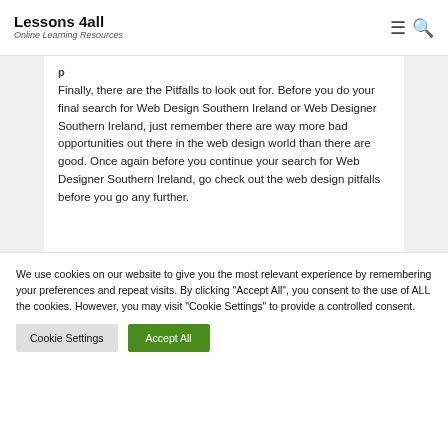Lessons 4all | Online Learning Resources
Finally, there are the Pitfalls to look out for. Before you do your final search for Web Design Southern Ireland or Web Designer Southern Ireland, just remember there are way more bad opportunities out there in the web design world than there are good. Once again before you continue your search for Web Designer Southern Ireland, go check out the web design pitfalls before you go any further.
We use cookies on our website to give you the most relevant experience by remembering your preferences and repeat visits. By clicking "Accept All", you consent to the use of ALL the cookies. However, you may visit "Cookie Settings" to provide a controlled consent.